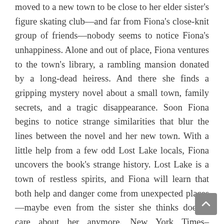moved to a new town to be close to her elder sister's figure skating club—and far from Fiona's close-knit group of friends—nobody seems to notice Fiona's unhappiness. Alone and out of place, Fiona ventures to the town's library, a rambling mansion donated by a long-dead heiress. And there she finds a gripping mystery novel about a small town, family secrets, and a tragic disappearance. Soon Fiona begins to notice strange similarities that blur the lines between the novel and her new town. With a little help from a few odd Lost Lake locals, Fiona uncovers the book's strange history. Lost Lake is a town of restless spirits, and Fiona will learn that both help and danger come from unexpected places—maybe even from the sister she thinks doesn't care about her anymore. New York Times–bestselling and acclaimed author Jacqueline West weaves a heart-pounding, intense, and imaginative mystery that builds anticipation on every page, while centering on the strong and often tumultuous bond between sisters. Laced with suspense, Long Lost will fascinate readers